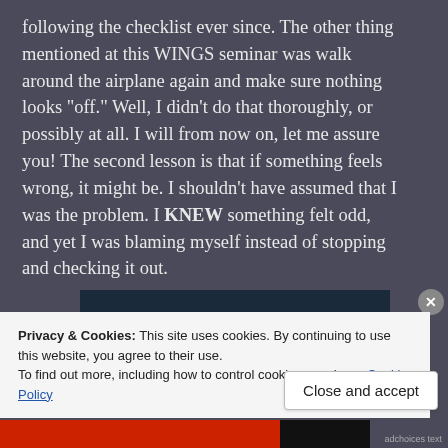following the checklist ever since. The other thing mentioned at this WINGS seminar was walk around the airplane again and make sure nothing looks “off.” Well, I didn’t do that thoroughly, or possibly at all. I will from now on, let me assure you! The second lesson is that if something feels wrong, it might be. I shouldn’t have assumed that I was the problem. I KNEW something felt odd, and yet I was blaming myself instead of stopping and checking it out.
[Figure (screenshot): Partial screenshot of a video thumbnail showing a dark background with dots and a Crowd Signal logo on the right side.]
Privacy & Cookies: This site uses cookies. By continuing to use this website, you agree to their use.
To find out more, including how to control cookies, see here: Cookie Policy
Close and accept